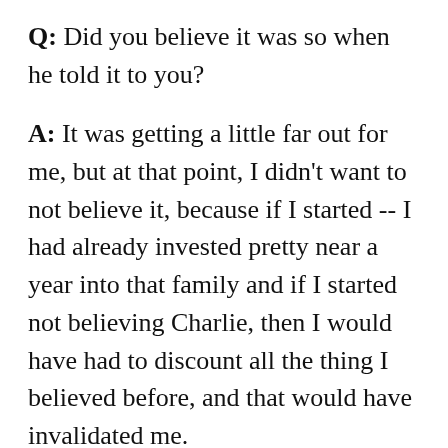Q: Did you believe it was so when he told it to you?
A: It was getting a little far out for me, but at that point, I didn't want to not believe it, because if I started -- I had already invested pretty near a year into that family and if I started not believing Charlie, then I would have had to discount all the thing I believed before, and that would have invalidated me.
I would have had to say, "You have...